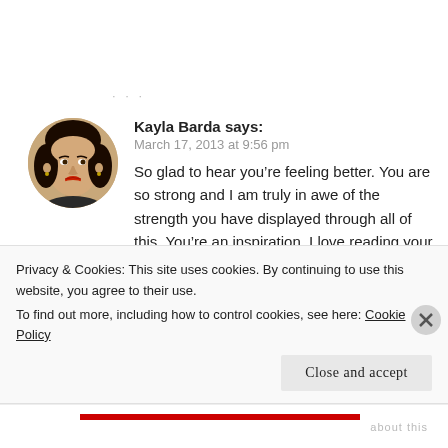· · ·
[Figure (photo): Circular avatar photo of Kayla Barda, a young woman with dark hair, red lipstick, looking at camera]
Kayla Barda says:
March 17, 2013 at 9:56 pm
So glad to hear you're feeling better. You are so strong and I am truly in awe of the strength you have displayed through all of this. You're an inspiration. I love reading your updates and am thinking of you
Privacy & Cookies: This site uses cookies. By continuing to use this website, you agree to their use.
To find out more, including how to control cookies, see here: Cookie Policy

Close and accept